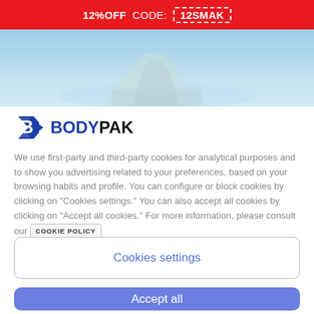12%OFF CODE: 12SMAK
[Figure (photo): Cropped photo of a person in a light blue outfit near water, visible from waist down]
[Figure (logo): BodyPak logo: stylized blue B icon followed by BODYPAK text in blue and dark]
We use first-party and third-party cookies for analytical purposes and to show you advertising related to your preferences, based on your browsing habits and profile. You can configure or block cookies by clicking on “Cookies settings.” You can also accept all cookies by clicking on “Accept all cookies.” For more information, please consult our COOKIE POLICY
Cookies settings
Accept all